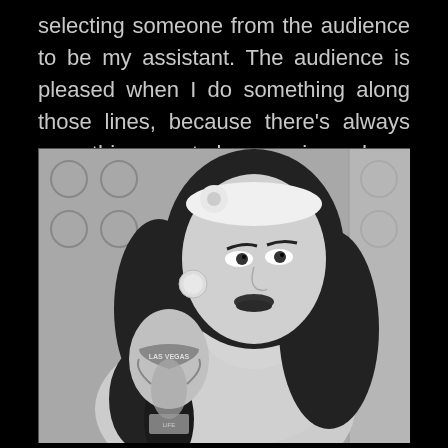selecting someone from the audience to be my assistant. The audience is pleased when I do something along those lines, because there's always something new to be experienced.
[Figure (photo): Black and white portrait photograph of a woman with long dark curly hair, a white headband with a flower, dramatic makeup, large rhinestone earrings, and visible tattoos on her shoulder/arm including text reading 'LAS VEGAS'. She is looking back over her shoulder at the camera. The background shows a decorative patterned wallpaper.]